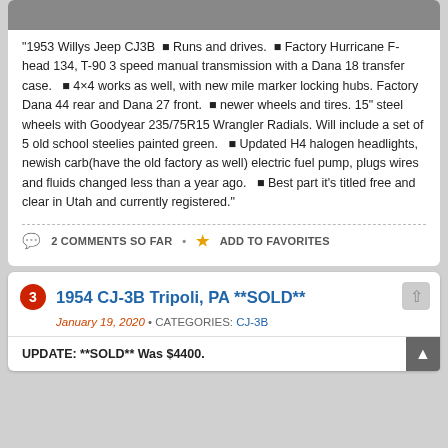[Figure (photo): Top portion of a photo, appears to be a vehicle or surface, mostly gray/dark tones, cropped]
“1953 Willys Jeep CJ3B ■ Runs and drives. ■ Factory Hurricane F-head 134, T-90 3 speed manual transmission with a Dana 18 transfer case. ■ 4×4 works as well, with new mile marker locking hubs. Factory Dana 44 rear and Dana 27 front. ■ newer wheels and tires. 15” steel wheels with Goodyear 235/75R15 Wrangler Radials. Will include a set of 5 old school steelies painted green. ■ Updated H4 halogen headlights, newish carb(have the old factory as well) electric fuel pump, plugs wires and fluids changed less than a year ago. ■ Best part it’s titled free and clear in Utah and currently registered.”
2 COMMENTS SO FAR • ADD TO FAVORITES
1954 CJ-3B Tripoli, PA **SOLD**
January 19, 2020 • CATEGORIES: CJ-3B
UPDATE: **SOLD** Was $4400.